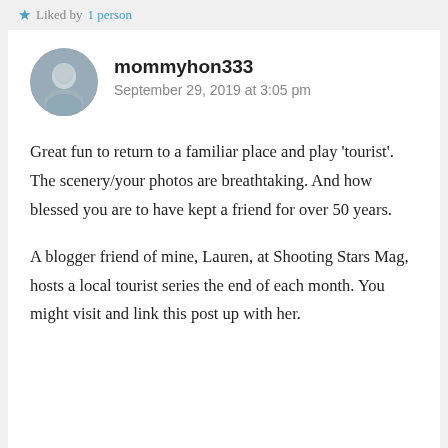Liked by 1 person
mommyhon333
September 29, 2019 at 3:05 pm
Great fun to return to a familiar place and play 'tourist'. The scenery/your photos are breathtaking. And how blessed you are to have kept a friend for over 50 years.

A blogger friend of mine, Lauren, at Shooting Stars Mag, hosts a local tourist series the end of each month. You might visit and link this post up with her.
Liked by 1 person